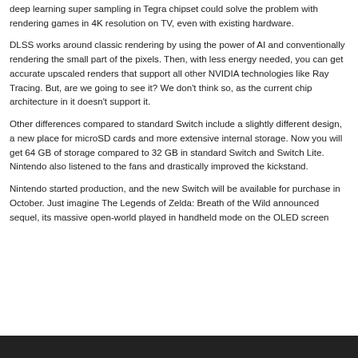deep learning super sampling in Tegra chipset could solve the problem with rendering games in 4K resolution on TV, even with existing hardware.
DLSS works around classic rendering by using the power of AI and conventionally rendering the small part of the pixels. Then, with less energy needed, you can get accurate upscaled renders that support all other NVIDIA technologies like Ray Tracing. But, are we going to see it? We don't think so, as the current chip architecture in it doesn't support it.
Other differences compared to standard Switch include a slightly different design, a new place for microSD cards and more extensive internal storage. Now you will get 64 GB of storage compared to 32 GB in standard Switch and Switch Lite. Nintendo also listened to the fans and drastically improved the kickstand.
Nintendo started production, and the new Switch will be available for purchase in October. Just imagine The Legends of Zelda: Breath of the Wild announced sequel, its massive open-world played in handheld mode on the OLED screen